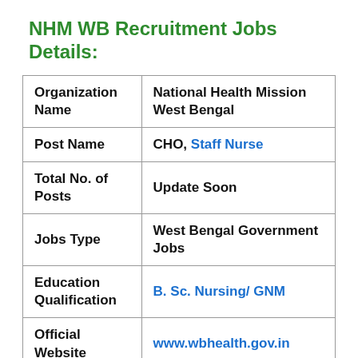NHM WB Recruitment Jobs Details:
| Organization Name | National Health Mission West Bengal |
| Post Name | CHO, Staff Nurse |
| Total No. of Posts | Update Soon |
| Jobs Type | West Bengal Government Jobs |
| Education Qualification | B. Sc. Nursing/ GNM |
| Official Website | www.wbhealth.gov.in |
| Application | Online |